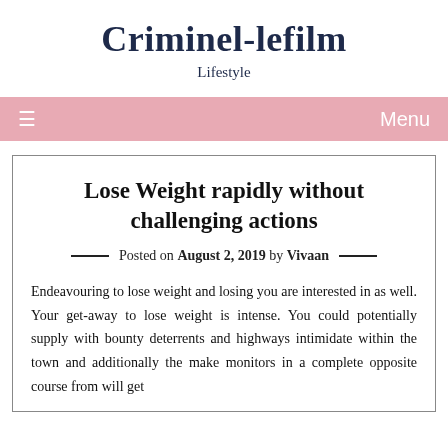Criminel-lefilm
Lifestyle
Menu
Lose Weight rapidly without challenging actions
Posted on August 2, 2019 by Vivaan
Endeavouring to lose weight and losing you are interested in as well. Your get-away to lose weight is intense. You could potentially supply with bounty deterrents and highways intimidate within the town and additionally the make monitors in a complete opposite course from will get